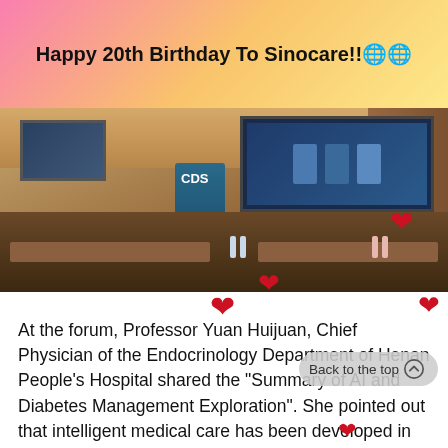Happy 20th Birthday To Sinocare!!🌐🌐
[Figure (photo): Conference room scene with a presenter at a podium labeled CDS, a projection screen showing slides, and attendees seated at tables. Red heart emoji overlays on the photo.]
At the forum, Professor Yuan Huijuan, Chief Physician of the Endocrinology Department of Henan People's Hospital shared the "Summary of AI and Diabetes Management Exploration". She pointed out that intelligent medical care has been developed in full swing, and it has also shined in the field of diabetes management. It can be infiltrated...